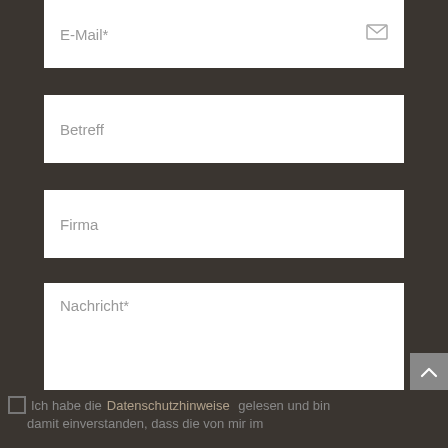E-Mail*
Betreff
Firma
Nachricht*
Ich habe die Datenschutzhinweise gelesen und bin damit einverstanden, dass die von mir im